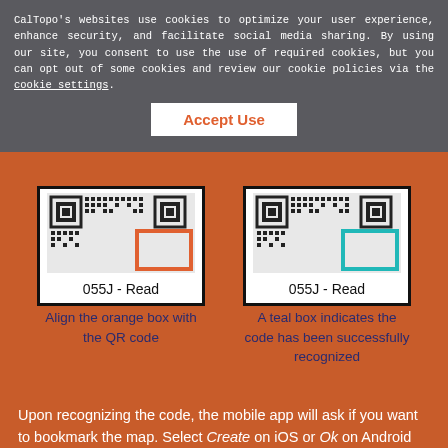CalTopo’s websites use cookies to optimize your user experience, enhance security, and facilitate social media sharing. By using our site, you consent to use the use of required cookies, but you can opt out of some cookies and review our cookie policies via the cookie settings.
Accept Use
[Figure (screenshot): QR code panel with orange border showing partial QR code, label: 055J - Read]
[Figure (screenshot): QR code panel with teal border showing partial QR code, label: 055J - Read]
Align the orange box with the QR code
A teal box indicates the code has been successfully recognized
Upon recognizing the code, the mobile app will ask if you want to bookmark the map. Select Create on iOS or Ok on Android and the app will open that map with the specified level of access and add it to your bookmarks. You must have a network signal to be able to open the map for the first time. Map ownership and the type of access you have will appear alongside the map name in the Maps list as